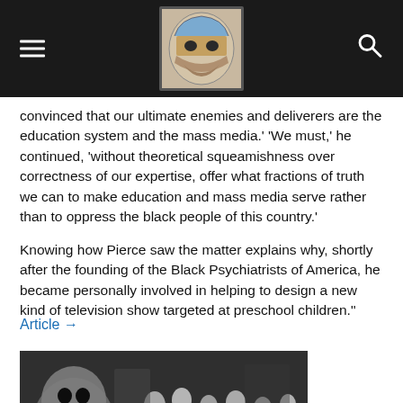Navigation header with hamburger menu, logo, and search icon
convinced that our ultimate enemies and deliverers are the education system and the mass media.' 'We must,' he continued, 'without theoretical squeamishness over correctness of our expertise, offer what fractions of truth we can to make education and mass media serve rather than to oppress the black people of this country.'
Knowing how Pierce saw the matter explains why, shortly after the founding of the Black Psychiatrists of America, he became personally involved in helping to design a new kind of television show targeted at preschool children."
Article →
[Figure (photo): Black and white photograph showing a group of people including children and adults with a large furry puppet character, reminiscent of a Sesame Street cast photo.]